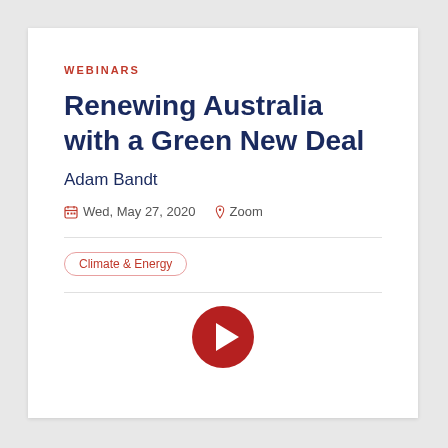WEBINARS
Renewing Australia with a Green New Deal
Adam Bandt
Wed, May 27, 2020   Zoom
Climate & Energy
[Figure (other): Red circular play button icon]